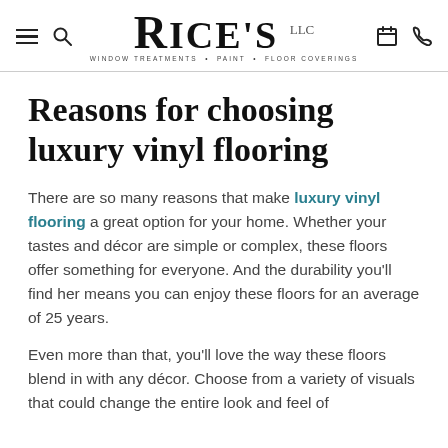Rice's - Window Treatments • Paint • Floor Coverings
Reasons for choosing luxury vinyl flooring
There are so many reasons that make luxury vinyl flooring a great option for your home. Whether your tastes and décor are simple or complex, these floors offer something for everyone. And the durability you'll find her means you can enjoy these floors for an average of 25 years.
Even more than that, you'll love the way these floors blend in with any décor. Choose from a variety of visuals that could change the entire look and feel of